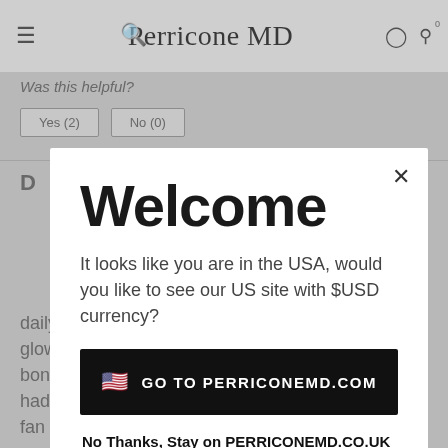Perricone MD
Was this helpful?
Welcome
It looks like you are in the USA, would you like to see our US site with $USD currency?
GO TO PERRICONEMD.COM
No Thanks, Stay on PERRICONEMD.CO.UK
daily basis.This tinted cream gives a nice healthy glow and is perfect for every day use and the bonus of 30% spf makes it a must in Sunny Fl.I had to double my order since my hubby is now a fan